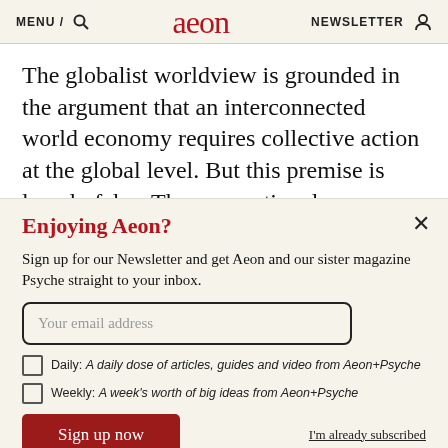MENU / [search] aeon NEWSLETTER [user icon]
The globalist worldview is grounded in the argument that an interconnected world economy requires collective action at the global level. But this premise is largely false. The conventional
Enjoying Aeon?
Sign up for our Newsletter and get Aeon and our sister magazine Psyche straight to your inbox.
Your email address
Daily: A daily dose of articles, guides and video from Aeon+Psyche
Weekly: A week's worth of big ideas from Aeon+Psyche
Sign up now
I'm already subscribed
Privacy policy